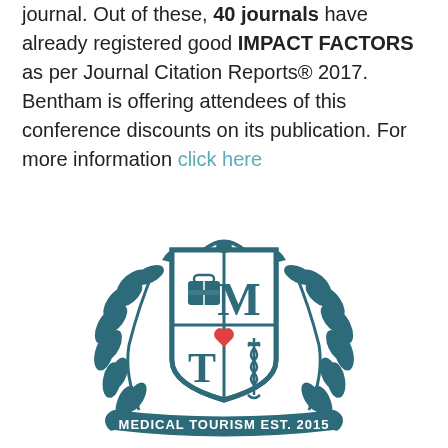journal. Out of these, 40 journals have already registered good IMPACT FACTORS as per Journal Citation Reports® 2017. Bentham is offering attendees of this conference discounts on its publication. For more information click here
[Figure (logo): Medical Tourism EST. 2015 crest/shield logo with laurel branches, containing icons: suitcase (top-left), letter M (top-right), heart (center), letter T (bottom-left), caduceus/medical symbol (bottom-right), with a banner reading MEDICAL TOURISM EST. 2015]